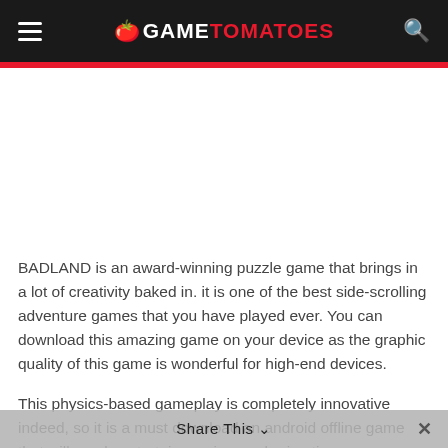GAME TOMATOES
BADLAND is an award-winning puzzle game that brings in a lot of creativity baked in. it is one of the best side-scrolling adventure games that you have played ever. You can download this amazing game on your device as the graphic quality of this game is wonderful for high-end devices.
This physics-based gameplay is completely innovative indeed, so it is a must download an android offline game that will surely entertain you in your boring time.
Share This